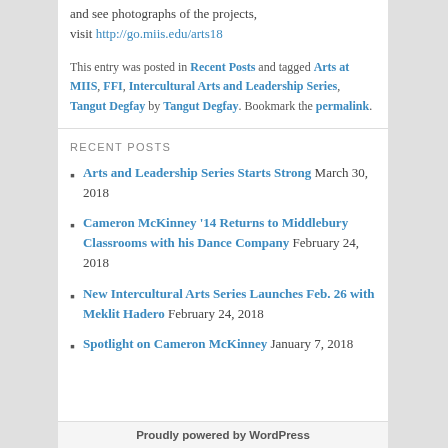and see photographs of the projects, visit http://go.miis.edu/arts18
This entry was posted in Recent Posts and tagged Arts at MIIS, FFI, Intercultural Arts and Leadership Series, Tangut Degfay by Tangut Degfay. Bookmark the permalink.
RECENT POSTS
Arts and Leadership Series Starts Strong March 30, 2018
Cameron McKinney '14 Returns to Middlebury Classrooms with his Dance Company February 24, 2018
New Intercultural Arts Series Launches Feb. 26 with Meklit Hadero February 24, 2018
Spotlight on Cameron McKinney January 7, 2018
Proudly powered by WordPress